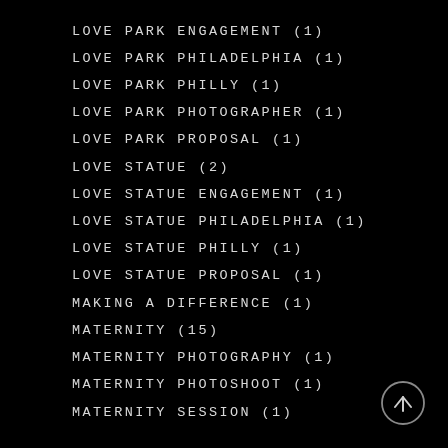LOVE PARK ENGAGEMENT (1)
LOVE PARK PHILADELPHIA (1)
LOVE PARK PHILLY (1)
LOVE PARK PHOTOGRAPHER (1)
LOVE PARK PROPOSAL (1)
LOVE STATUE (2)
LOVE STATUE ENGAGEMENT (1)
LOVE STATUE PHILADELPHIA (1)
LOVE STATUE PHILLY (1)
LOVE STATUE PROPOSAL (1)
MAKING A DIFFERENCE (1)
MATERNITY (15)
MATERNITY PHOTOGRAPHY (1)
MATERNITY PHOTOSHOOT (1)
MATERNITY SESSION (1)